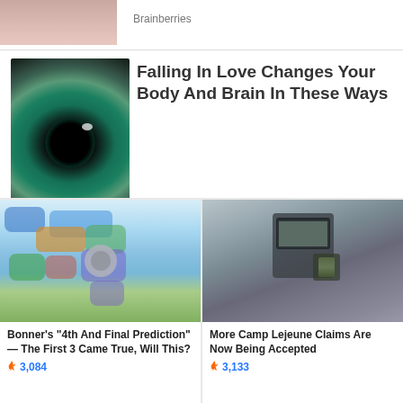[Figure (photo): Partial image of a woman's face at the top]
Brainberries
Falling In Love Changes Your Body And Brain In These Ways
[Figure (photo): Close-up photo of a green eye]
Brainberries
Why Luxury Fashion Brands Are So Expensive
[Figure (photo): Person in luxury setting with Louis Vuitton bag]
Herbeauty
Promoted ✕
Bonner's "4th And Final Prediction" — The First 3 Came True, Will This?
[Figure (map): Colorful world map with circular overlay]
🔥 3,084
More Camp Lejeune Claims Are Now Being Accepted
[Figure (photo): Person wearing hazmat suit and gas mask]
🔥 3,133